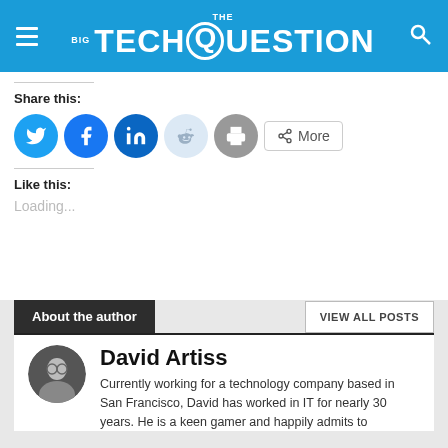THE BIG TECH QUESTION
Share this:
[Figure (other): Social sharing icons: Twitter, Facebook, LinkedIn, Reddit, Print, and More button]
Like this:
Loading...
About the author
VIEW ALL POSTS
[Figure (photo): Circular avatar photo of David Artiss]
David Artiss
Currently working for a technology company based in San Francisco, David has worked in IT for nearly 30 years. He is a keen gamer and happily admits to